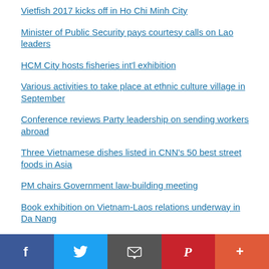Vietfish 2017 kicks off in Ho Chi Minh City
Minister of Public Security pays courtesy calls on Lao leaders
HCM City hosts fisheries int'l exhibition
Various activities to take place at ethnic culture village in September
Conference reviews Party leadership on sending workers abroad
Three Vietnamese dishes listed in CNN's 50 best street foods in Asia
PM chairs Government law-building meeting
Book exhibition on Vietnam-Laos relations underway in Da Nang
Social share bar: Facebook, Twitter, Email, Pinterest, More